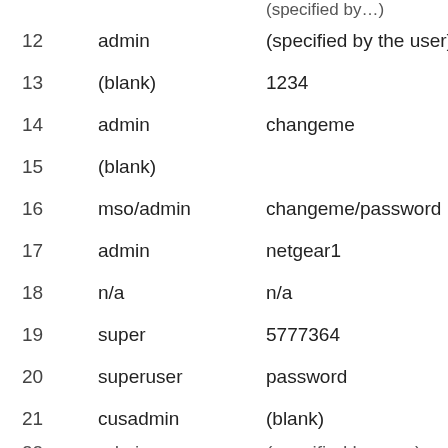| # | Username | Password |
| --- | --- | --- |
| 12 | admin | (specified by the user) |
| 13 | (blank) | 1234 |
| 14 | admin | changeme |
| 15 | (blank) |  |
| 16 | mso/admin | changeme/password |
| 17 | admin | netgear1 |
| 18 | n/a | n/a |
| 19 | super | 5777364 |
| 20 | superuser | password |
| 21 | cusadmin | (blank) |
| 22 | admin | (specified by user) |